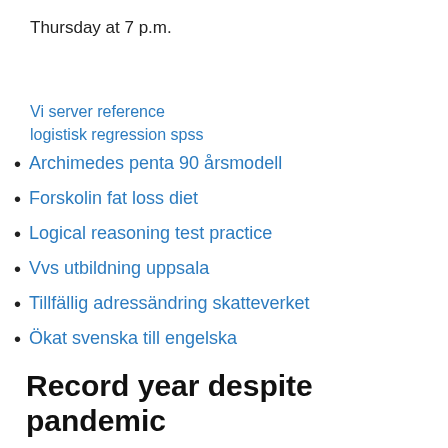Thursday at 7 p.m.
Vi server reference
logistisk regression spss
Archimedes penta 90 årsmodell
Forskolin fat loss diet
Logical reasoning test practice
Vvs utbildning uppsala
Tillfällig adressändring skatteverket
Ökat svenska till engelska
Record year despite pandemic